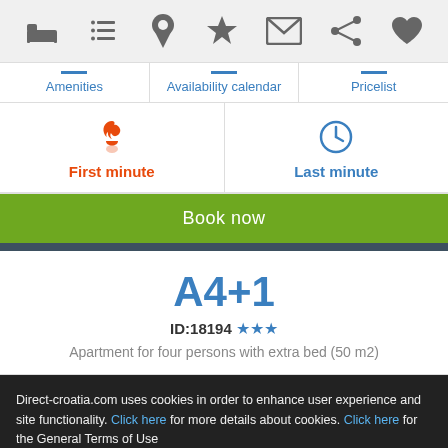[Figure (screenshot): Top navigation bar with icons: bed, list, location pin, star, envelope, share, heart]
| Amenities | Availability calendar | Pricelist |
| --- | --- | --- |
First minute
Last minute
Book now
A4+1
ID:18194 ★★★
Apartment for four persons with extra bed (50 m2)
Direct-croatia.com uses cookies in order to enhance user experience and site functionality. Click here for more details about cookies. Click here for the General Terms of Use
By continuing you accept the General Terms of Use and the use of cookies.
Okay